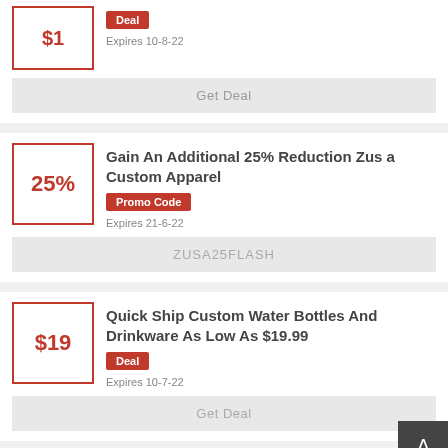Deal — Expires 10-8-22 — Get Deal
Gain An Additional 25% Reduction Zus a Custom Apparel
Promo Code — Expires 21-6-22 — ZUSA25FLASH
Quick Ship Custom Water Bottles And Drinkware As Low As $19.99
Deal — Expires 10-7-22 — Get Deal